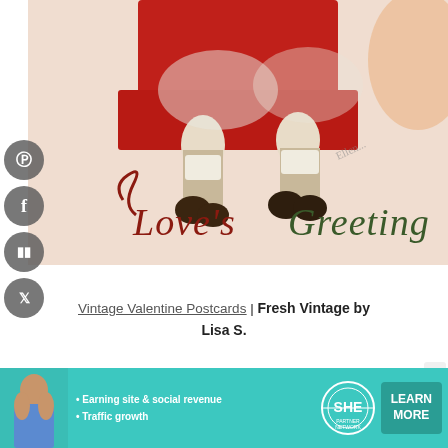[Figure (illustration): Vintage Valentine postcard illustration showing two children sitting on a red bench/chair. The bottom portion shows 'Love's Greeting' text in decorative red and green lettering. The image has a pink/cream background with a handwritten signature visible.]
Vintage Valentine Postcards | Fresh Vintage by Lisa S.
[Figure (infographic): Advertisement banner for SHE Media Partner Network with teal/turquoise background. Shows a woman on the left, bullet points 'Earning site & social revenue' and 'Traffic growth', the SHE Media logo/globe icon, and a 'LEARN MORE' button. Bottom text reads 'BECOME A MEMBER'.]